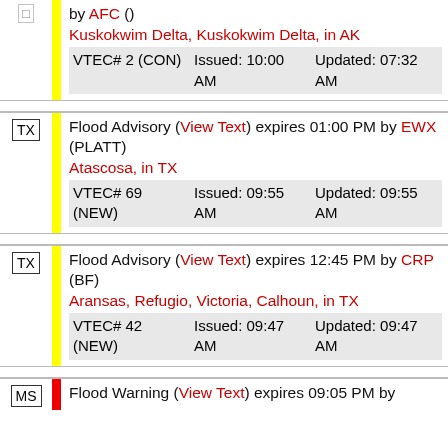| by AFC () | Kuskokwim Delta, Kuskokwim Delta, in AK | VTEC# 2 (CON) | Issued: 10:00 AM | Updated: 07:32 AM |
| TX | Flood Advisory (View Text) expires 01:00 PM by EWX (PLATT) | Atascosa, in TX | VTEC# 69 (NEW) | Issued: 09:55 AM | Updated: 09:55 AM |
| TX | Flood Advisory (View Text) expires 12:45 PM by CRP (BF) | Aransas, Refugio, Victoria, Calhoun, in TX | VTEC# 42 (NEW) | Issued: 09:47 AM | Updated: 09:47 AM |
| MS | Flood Warning (View Text) expires 09:05 PM by |